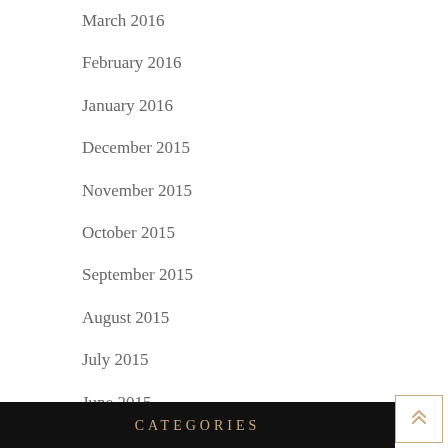March 2016
February 2016
January 2016
December 2015
November 2015
October 2015
September 2015
August 2015
July 2015
June 2015
CATEGORIES